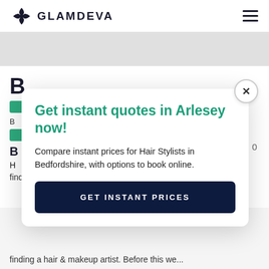GLAMDEVA
[Figure (screenshot): Glamdeva website page background with partial content visible behind modal overlay]
Get instant quotes in Arlesey now!
Compare instant prices for Hair Stylists in Bedfordshire, with options to book online.
GET INSTANT PRICES
finding a hair & makeup artist. Before this we...